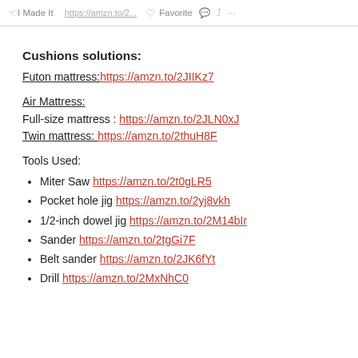I Made It  [URL: https://amzn.to/2...]  Favorite  ...
Cushions solutions:
Futon mattress: https://amzn.to/2JIIKz7
Air Mattress:
Full-size mattress : https://amzn.to/2JLN0xJ
Twin mattress: https://amzn.to/2thuH8F
Tools Used:
Miter Saw https://amzn.to/2t0gLR5
Pocket hole jig https://amzn.to/2yj8vkh
1/2-inch dowel jig https://amzn.to/2M14bIr
Sander https://amzn.to/2tgGi7F
Belt sander https://amzn.to/2JK6fYt
Drill https://amzn.to/2MxNhC0